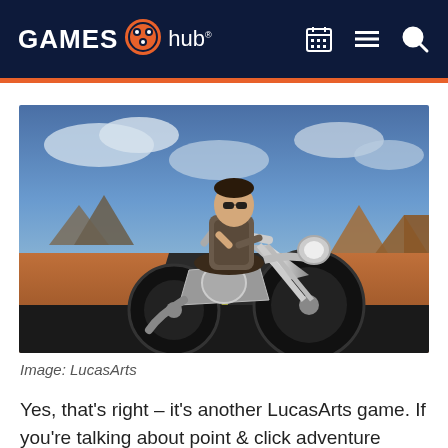GAMES hub
[Figure (photo): 3D rendered scene of a man with sunglasses riding a large silver chopper motorcycle on a desert highway, red rock canyon landscape in the background under a cloudy blue sky. LucasArts game screenshot.]
Image: LucasArts
Yes, that's right – it's another LucasArts game. If you're talking about point & click adventure games,